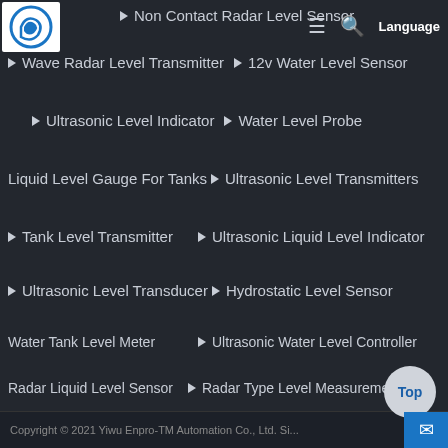Non Contact Radar Level Sensor
[Figure (logo): Yiwu Enpro-TM company logo, circular blue emblem with stylized D]
Wave Radar Level Transmitter
12v Water Level Sensor
Ultrasonic Level Indicator
Water Level Probe
Liquid Level Gauge For Tanks
Ultrasonic Level Transmitters
Tank Level Transmitter
Ultrasonic Liquid Level Indicator
Ultrasonic Level Transducer
Hydrostatic Level Sensor
Water Tank Level Meter
Ultrasonic Water Level Controller
Radar Liquid Level Sensor
Radar Type Level Measurement
Copyright © 2021 Yiwu Enpro-TM Automation Co., Ltd. Si...